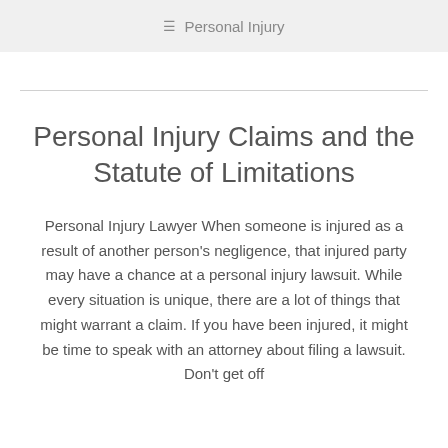Personal Injury
Personal Injury Claims and the Statute of Limitations
Personal Injury Lawyer When someone is injured as a result of another person's negligence, that injured party may have a chance at a personal injury lawsuit. While every situation is unique, there are a lot of things that might warrant a claim. If you have been injured, it might be time to speak with an attorney about filing a lawsuit. Don't get off